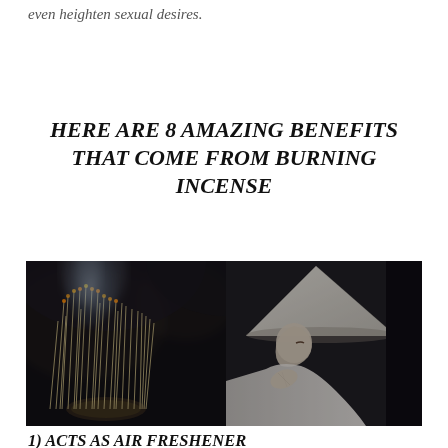even heighten sexual desires.
HERE ARE 8 AMAZING BENEFITS THAT COME FROM BURNING INCENSE
[Figure (photo): A woman in traditional Vietnamese white dress (ao dai) and conical hat prays with hands together in front of burning incense sticks in a temple setting. Smoke rises from the incense in a dark atmospheric background.]
1) ACTS AS AIR FRESHENER